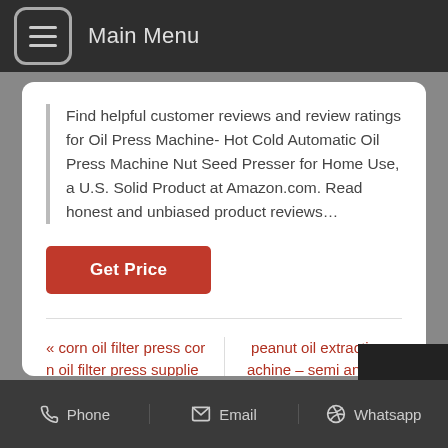Main Menu
Find helpful customer reviews and review ratings for Oil Press Machine- Hot Cold Automatic Oil Press Machine Nut Seed Presser for Home Use, a U.S. Solid Product at Amazon.com. Read honest and unbiased product reviews…
Get Price
« corn oil filter press corn oil filter press suppliers
peanut oil extraction machine – semi and automatic peanut oil in south african »
Phone   Email   Whatsapp